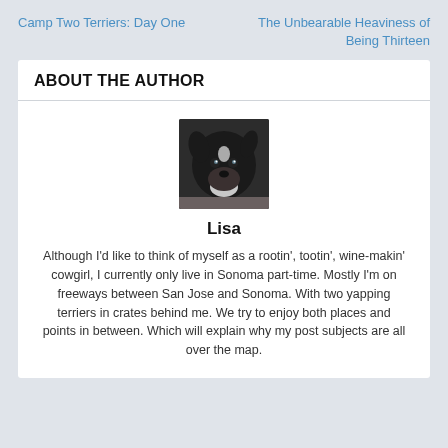Camp Two Terriers: Day One
The Unbearable Heaviness of Being Thirteen
ABOUT THE AUTHOR
[Figure (photo): Close-up photo of a black and white dog looking at the camera]
Lisa
Although I'd like to think of myself as a rootin', tootin', wine-makin' cowgirl, I currently only live in Sonoma part-time. Mostly I'm on freeways between San Jose and Sonoma. With two yapping terriers in crates behind me. We try to enjoy both places and points in between. Which will explain why my post subjects are all over the map.